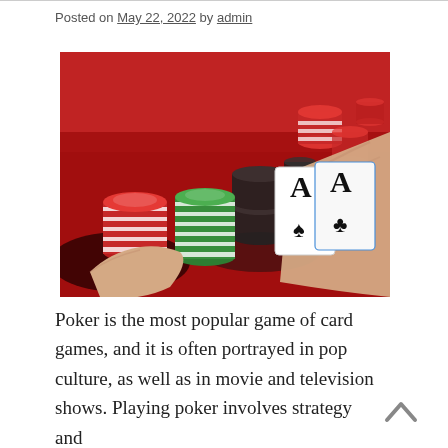Posted on May 22, 2022 by admin
[Figure (photo): A hand holding two Ace playing cards (Ace of Spades and Ace of Clubs) with stacks of red, green, and black poker chips on a red surface.]
Poker is the most popular game of card games, and it is often portrayed in pop culture, as well as in movie and television shows. Playing poker involves strategy and